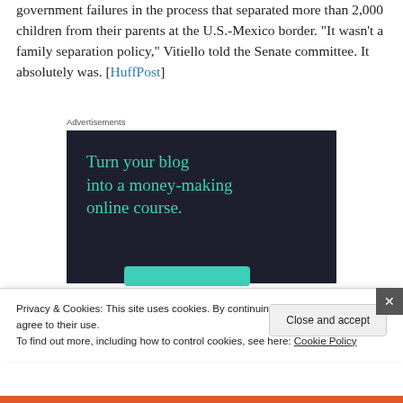government failures in the process that separated more than 2,000 children from their parents at the U.S.-Mexico border. “It wasn’t a family separation policy,” Vitiello told the Senate committee. It absolutely was. [HuffPost]
Advertisements
[Figure (illustration): Advertisement banner with dark background and teal text reading 'Turn your blog into a money-making online course.' with a teal button below.]
Privacy & Cookies: This site uses cookies. By continuing to use this website, you agree to their use.
To find out more, including how to control cookies, see here: Cookie Policy
Close and accept